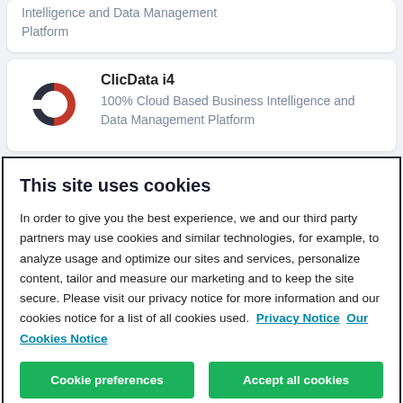Intelligence and Data Management Platform
[Figure (logo): ClicData logo: stylized C and D shapes in dark gray and red forming a circular emblem]
ClicData i4
100% Cloud Based Business Intelligence and Data Management Platform
This site uses cookies
In order to give you the best experience, we and our third party partners may use cookies and similar technologies, for example, to analyze usage and optimize our sites and services, personalize content, tailor and measure our marketing and to keep the site secure. Please visit our privacy notice for more information and our cookies notice for a list of all cookies used.  Privacy Notice  Our Cookies Notice
Cookie preferences
Accept all cookies